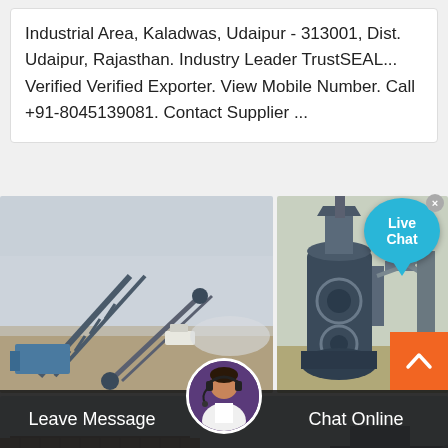Industrial Area, Kaladwas, Udaipur - 313001, Dist. Udaipur, Rajasthan. Industry Leader TrustSEAL... Verified Verified Exporter. View Mobile Number. Call +91-8045139081. Contact Supplier ...
[Figure (photo): Industrial/mining conveyor belt machinery at an outdoor site — hazy conditions, blue equipment visible]
[Figure (photo): Large dark-colored industrial grinding mill or crusher machines at an outdoor industrial site]
[Figure (photo): Partial view of industrial rooftop structure with blue sky]